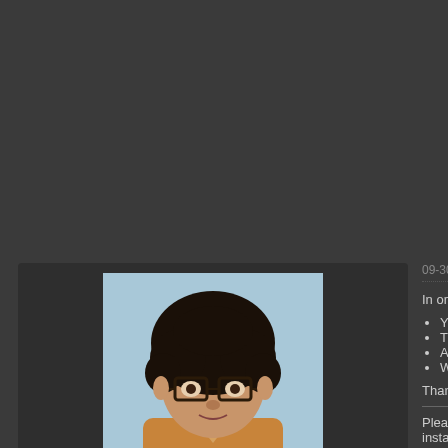[Figure (photo): Avatar photo of forum user jesalvein - person with curly hair and glasses on light blue background]
jesalvein
Registered IT crowd
★★★★★★★
Posts: 27.817
Threads: 16
Joined: Dec 2008
Reputation: 563
Location: 127.0.0.1
09-30-2017, 04:46 PM (This post was last modified: 09-
In order to help you further with your proble
Your hardware specs - CPU, Graphi
The version of PCSX2 you are using
Any non default settings you are usin
What games you are trying to play a
Thank You.
Please post the contents of the emulog.txt f the installer version or in "PCSX2\logs" for t
CPU : AMD Ryzen 7 3800X
Mobo : Asus PRIME B450-PLUS
GPU : NVIDIA GeForce RTX 3070
RAM : 16 Go